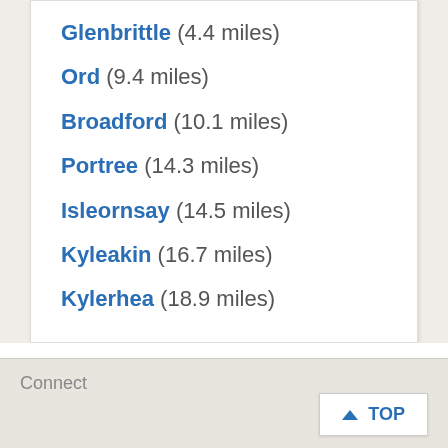Glenbrittle (4.4 miles)
Ord (9.4 miles)
Broadford (10.1 miles)
Portree (14.3 miles)
Isleornsay (14.5 miles)
Kyleakin (16.7 miles)
Kylerhea (18.9 miles)
Passionate about British Heritage!
Connect   TOP